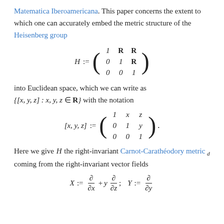Matematica Iberoamericana. This paper concerns the extent to which one can accurately embed the metric structure of the Heisenberg group
into Euclidean space, which we can write as {[x,y,z] : x, y, z ∈ R} with the notation
Here we give H the right-invariant Carnot-Carathéodory metric d coming from the right-invariant vector fields